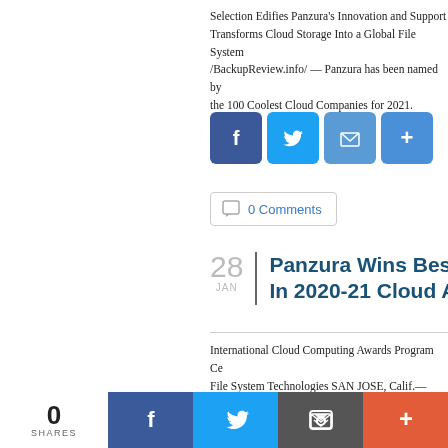Selection Edifies Panzura's Innovation and Support Transforms Cloud Storage Into a Global File System /BackupReview.info/ — Panzura has been named by the 100 Coolest Cloud Companies for 2021. Panzura
[Figure (infographic): Row of social share buttons: Facebook (blue), Twitter (light blue), Email (blue), Plus/Share (blue)]
0 Comments
28 JAN  Panzura Wins Best In 2020-21 Cloud Aw
International Cloud Computing Awards Program Ce... File System Technologies SAN JOSE, Calif.—Janua... been declared the winner of the Best Hybrid Cloud S... Computing Awards program, The Cloud Awards. The
[Figure (infographic): Row of social share buttons: Facebook (blue), Twitter (light blue), Email (blue), Plus/Share (blue)]
0 SHARES  [Facebook] [Twitter] [Email] [+]